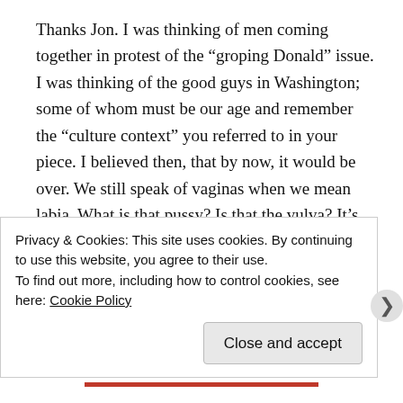Thanks Jon. I was thinking of men coming together in protest of the “groping Donald” issue. I was thinking of the good guys in Washington; some of whom must be our age and remember the “culture context” you referred to in your piece. I believed then, that by now, it would be over. We still speak of vaginas when we mean labia. What is that pussy? Is that the vulva? It’s so sad to not speak correctly regarding “down there”. Don’t worry I would never want to embarrass anyone. So sorry. However, my vagina is the part INSIDE of my body from which I gave birth....... Where is my pussy? I may not
Privacy & Cookies: This site uses cookies. By continuing to use this website, you agree to their use.
To find out more, including how to control cookies, see here: Cookie Policy
Close and accept